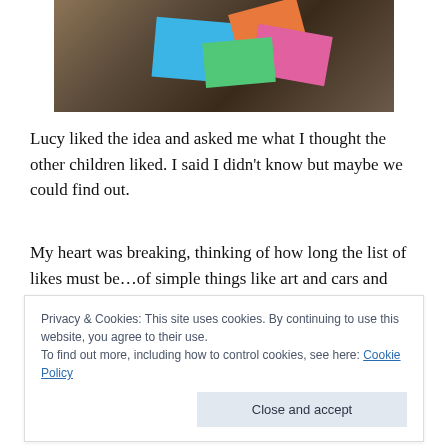[Figure (photo): Colorful notebooks (orange, blue, pink, green) scattered on a dark marble or wood surface, photographed from above.]
Lucy liked the idea and asked me what I thought the other children liked. I said I didn't know but maybe we could find out.
My heart was breaking, thinking of how long the list of likes must be…of simple things like art and cars and games.
…and how there won't be any new drawings from Emilie
Privacy & Cookies: This site uses cookies. By continuing to use this website, you agree to their use.
To find out more, including how to control cookies, see here: Cookie Policy
Close and accept
Lucy would have been delighted to find a little art kit on a